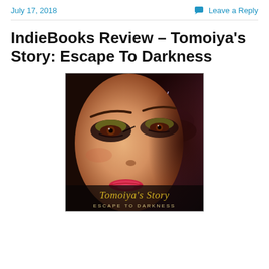July 17, 2018    Leave a Reply
IndieBooks Review – Tomoiya's Story: Escape To Darkness
[Figure (photo): Book cover for Tomoiya's Story: Escape To Darkness, showing a close-up of a woman's face with dramatic eye makeup, half in light and half in dark storm clouds with lightning. The title 'Tomoiya's Story' appears in gold italic script at the bottom, with 'ESCAPE TO DARKNESS' in smaller capital letters below it.]